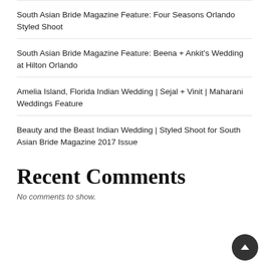South Asian Bride Magazine Feature: Four Seasons Orlando Styled Shoot
South Asian Bride Magazine Feature: Beena + Ankit's Wedding at Hilton Orlando
Amelia Island, Florida Indian Wedding | Sejal + Vinit | Maharani Weddings Feature
Beauty and the Beast Indian Wedding | Styled Shoot for South Asian Bride Magazine 2017 Issue
Recent Comments
No comments to show.